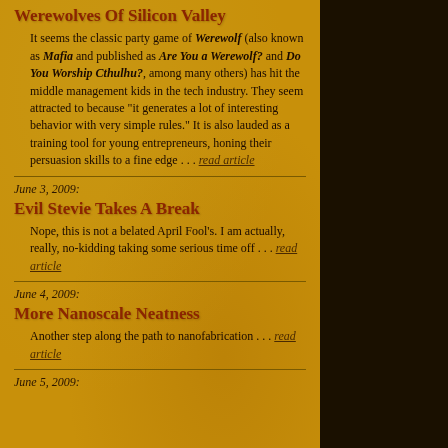Werewolves Of Silicon Valley
It seems the classic party game of Werewolf (also known as Mafia and published as Are You a Werewolf? and Do You Worship Cthulhu?, among many others) has hit the middle management kids in the tech industry. They seem attracted to because "it generates a lot of interesting behavior with very simple rules." It is also lauded as a training tool for young entrepreneurs, honing their persuasion skills to a fine edge . . . read article
June 3, 2009:
Evil Stevie Takes A Break
Nope, this is not a belated April Fool's. I am actually, really, no-kidding taking some serious time off . . . read article
June 4, 2009:
More Nanoscale Neatness
Another step along the path to nanofabrication . . . read article
June 5, 2009: